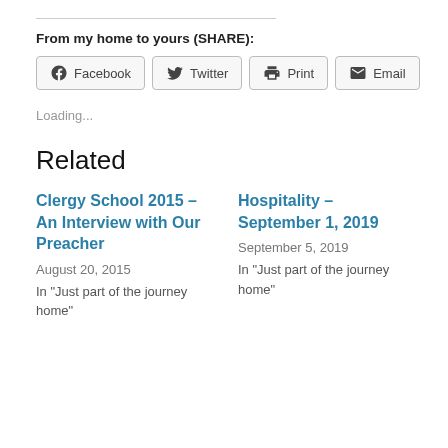From my home to yours (SHARE):
[Figure (other): Share buttons: Facebook, Twitter, Print, Email]
Loading...
Related
Clergy School 2015 – An Interview with Our Preacher
August 20, 2015
In "Just part of the journey home"
Hospitality – September 1, 2019
September 5, 2019
In "Just part of the journey home"